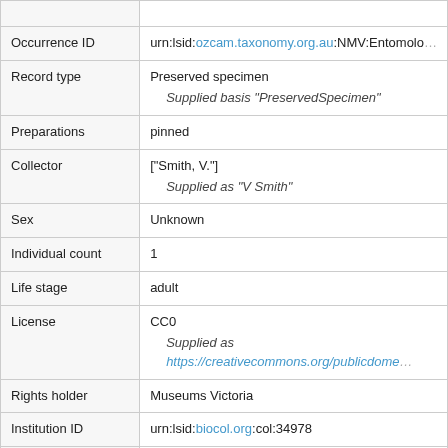| Field | Value |
| --- | --- |
| Occurrence ID | urn:lsid:ozcam.taxonomy.org.au:NMV:Entomolo… |
| Record type | Preserved specimen
    Supplied basis "PreservedSpecimen" |
| Preparations | pinned |
| Collector | ["Smith, V."]
    Supplied as "V Smith" |
| Sex | Unknown |
| Individual count | 1 |
| Life stage | adult |
| License | CC0
    Supplied as https://creativecommons.org/publicdome… |
| Rights holder | Museums Victoria |
| Institution ID | urn:lsid:biocol.org:col:34978 |
| Language | en |
| Presence/Absence | PRESENT
    Supplied as present… |